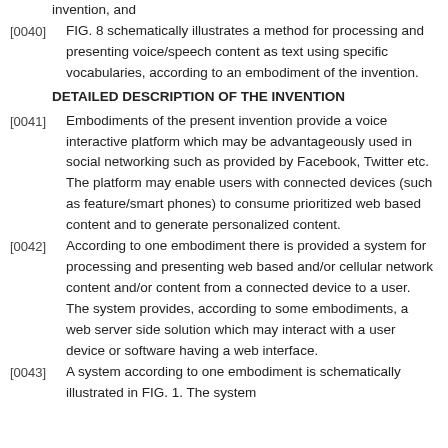invention, and
[0040] FIG. 8 schematically illustrates a method for processing and presenting voice/speech content as text using specific vocabularies, according to an embodiment of the invention.
DETAILED DESCRIPTION OF THE INVENTION
[0041] Embodiments of the present invention provide a voice interactive platform which may be advantageously used in social networking such as provided by Facebook, Twitter etc. The platform may enable users with connected devices (such as feature/smart phones) to consume prioritized web based content and to generate personalized content.
[0042] According to one embodiment there is provided a system for processing and presenting web based and/or cellular network content and/or content from a connected device to a user. The system provides, according to some embodiments, a web server side solution which may interact with a user device or software having a web interface.
[0043] A system according to one embodiment is schematically illustrated in FIG. 1. The system